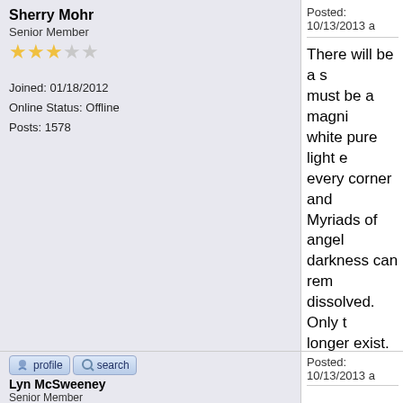Sherry Mohr
Senior Member
★★★☆☆
Joined: 01/18/2012
Online Status: Offline
Posts: 1578
Posted: 10/13/2013
There will be a s... must be a magni... white pure light e... every corner and... Myriads of angel... darkness can rem... dissolved. Only t... longer exist.
This is AWESOME! R
In Christ's Love
sher
Lyn McSweeney
Senior Member
★★★☆☆
Posted: 10/13/2013
[Figure (illustration): God is Love text/graphic image]